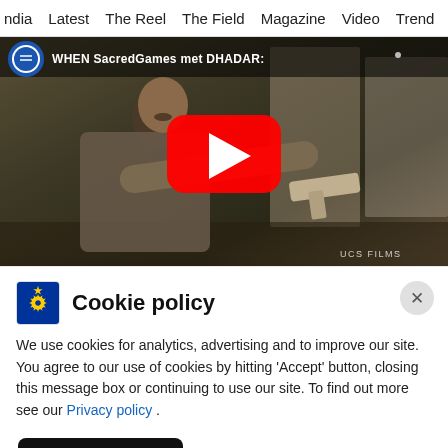ndia   Latest   The Reel   The Field   Magazine   Video   Trend
[Figure (screenshot): Video thumbnail showing a man pointing a gun, with a YouTube play button overlay. Text reads 'WHEN SacredGames met DHADAR:'. Watermark: UCS FILMS.]
Cookie policy
We use cookies for analytics, advertising and to improve our site. You agree to our use of cookies by hitting 'Accept' button, closing this message box or continuing to use our site. To find out more see our Privacy policy .
Accept